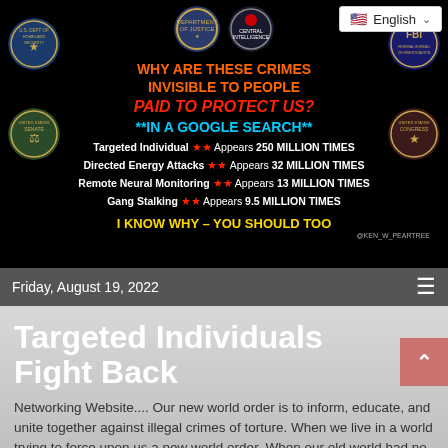[Figure (infographic): Black background banner with US government agency seals (DHS, DOJ, CIA, FBI, US Senate, US Congress) and text asking why crimes are invisible to agencies paid to protect us, with Google search statistics for targeted individual terms]
Friday, August 19, 2022
Targeted Individuals Fight Back
Networking Website.... Our new world order is to inform, educate, and unite together against illegal crimes of torture. When we live in a world trying to force upon us a new world order. When our old world had no order.